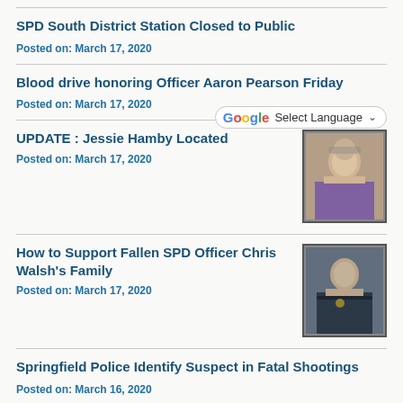SPD South District Station Closed to Public
Posted on: March 17, 2020
Blood drive honoring Officer Aaron Pearson Friday
Posted on: March 17, 2020
UPDATE : Jessie Hamby Located
Posted on: March 17, 2020
[Figure (photo): Portrait photo of an elderly person]
How to Support Fallen SPD Officer Chris Walsh's Family
Posted on: March 17, 2020
[Figure (photo): Portrait photo of a police officer in uniform]
Springfield Police Identify Suspect in Fatal Shootings
Posted on: March 16, 2020